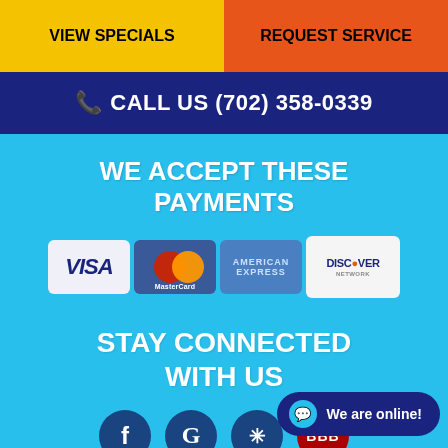VIEW SPECIALS
REQUEST SERVICE
CALL US (702) 358-0339
WE ACCEPT THESE PAYMENTS
[Figure (logo): Payment method logos: Visa, MasterCard, American Express, Discover Network]
STAY CONNECTED WITH US
[Figure (logo): Social media icons: Facebook, Google, Yelp, BBB]
We are online!